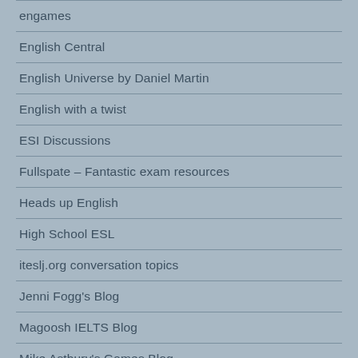engames
English Central
English Universe by Daniel Martin
English with a twist
ESI Discussions
Fullspate – Fantastic exam resources
Heads up English
High School ESL
iteslj.org conversation topics
Jenni Fogg's Blog
Magoosh IELTS Blog
Mike Astbury's Games Blog
My Sl...